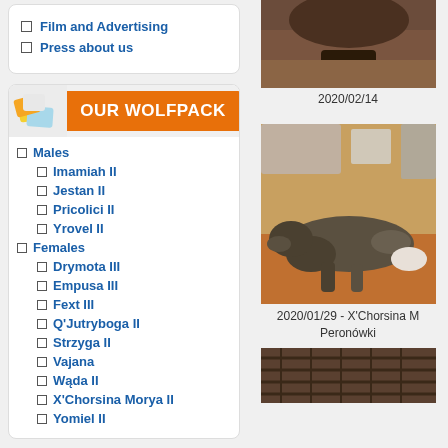Film and Advertising
Press about us
[Figure (logo): OUR WOLFPACK header with sticker icon and orange banner]
Males
Imamiah II
Jestan II
Pricolici II
Yrovel II
Females
Drymota III
Empusa III
Fext III
Q'Jutryboga II
Strzyga II
Vajana
Wąda II
X'Chorsina Morya II
Yomiel II
[Figure (photo): Close-up photo of a wolf/dog's fur and paw]
2020/02/14
[Figure (photo): Photo of a wolf/dog lying on a wooden floor]
2020/01/29 - X'Chorsina M Peronówki
[Figure (photo): Partial photo of a wolf/dog at the bottom]